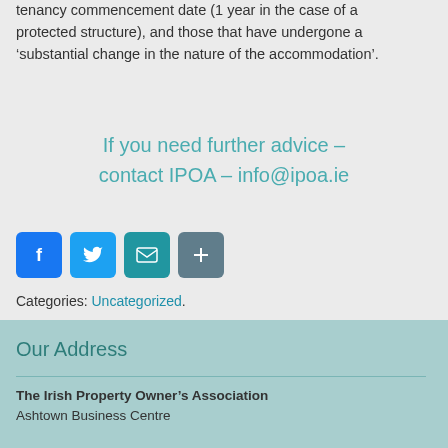tenancy commencement date (1 year in the case of a protected structure), and those that have undergone a ‘substantial change in the nature of the accommodation’.
If you need further advice – contact IPOA – info@ipoa.ie
[Figure (infographic): Four social sharing icon buttons: Facebook (blue), Twitter (light blue), Email (teal), Share/More (grey-blue)]
Categories: Uncategorized.
Our Address
The Irish Property Owner’s Association
Ashtown Business Centre